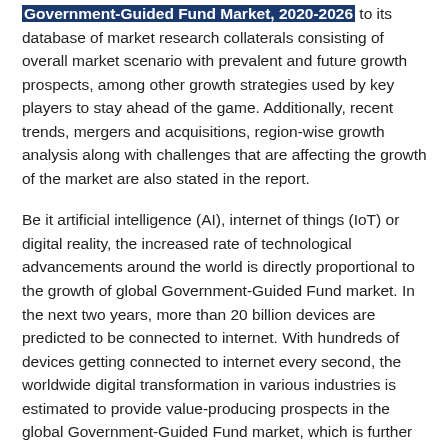Government-Guided Fund Market, 2020-2026 to its database of market research collaterals consisting of overall market scenario with prevalent and future growth prospects, among other growth strategies used by key players to stay ahead of the game. Additionally, recent trends, mergers and acquisitions, region-wise growth analysis along with challenges that are affecting the growth of the market are also stated in the report.
Be it artificial intelligence (AI), internet of things (IoT) or digital reality, the increased rate of technological advancements around the world is directly proportional to the growth of global Government-Guided Fund market. In the next two years, more than 20 billion devices are predicted to be connected to internet. With hundreds of devices getting connected to internet every second, the worldwide digital transformation in various industries is estimated to provide value-producing prospects in the global Government-Guided Fund market, which is further anticipated to significantly boost the market revenue throughout